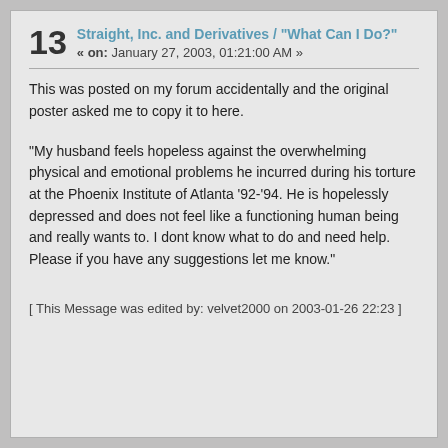13  Straight, Inc. and Derivatives / "What Can I Do?" « on: January 27, 2003, 01:21:00 AM »
This was posted on my forum accidentally and the original poster asked me to copy it to here.
"My husband feels hopeless against the overwhelming physical and emotional problems he incurred during his torture at the Phoenix Institute of Atlanta '92-'94. He is hopelessly depressed and does not feel like a functioning human being and really wants to. I dont know what to do and need help. Please if you have any suggestions let me know."
[ This Message was edited by: velvet2000 on 2003-01-26 22:23 ]